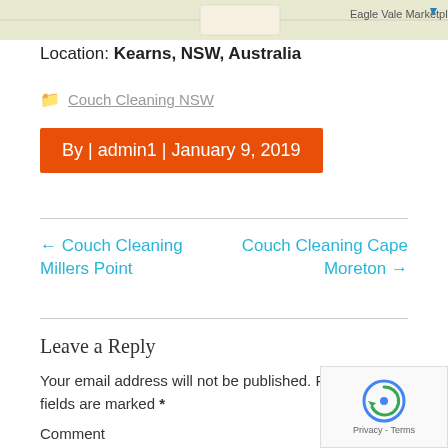[Figure (map): Partial map screenshot showing Eagle Vale Marketplace area]
Location: Kearns, NSW, Australia
Couch Cleaning NSW
By | admin1 | January 9, 2019
← Couch Cleaning Millers Point
Couch Cleaning Cape Moreton →
Leave a Reply
Your email address will not be published. Required fields are marked *
Comment
[Figure (other): reCAPTCHA widget showing Privacy - Terms]